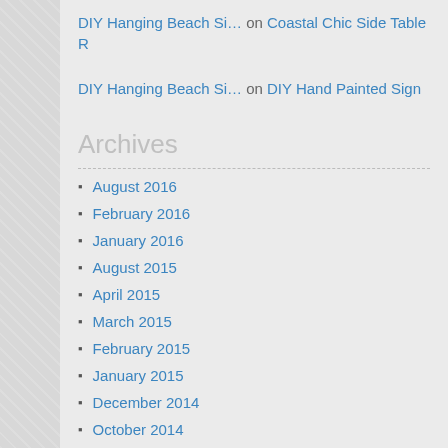DIY Hanging Beach Si… on Coastal Chic Side Table R
DIY Hanging Beach Si… on DIY Hand Painted Sign
Archives
August 2016
February 2016
January 2016
August 2015
April 2015
March 2015
February 2015
January 2015
December 2014
October 2014
September 2014